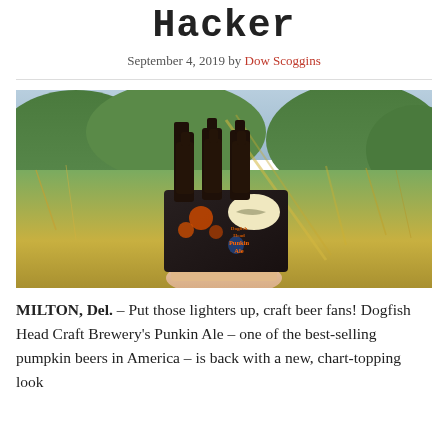Hacker
September 4, 2019 by Dow Scoggins
[Figure (photo): A hand holding a six-pack of Dogfish Head Punkin Ale with dark beer bottles against an outdoor grassy background]
MILTON, Del. – Put those lighters up, craft beer fans! Dogfish Head Craft Brewery's Punkin Ale – one of the best-selling pumpkin beers in America – is back with a new, chart-topping look